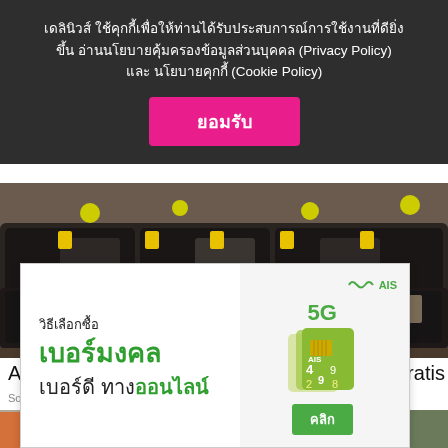เดลินิวส์ ใช้คุกกี้เพื่อให้ท่านได้รับประสบการณ์การใช้งานที่ดียิ่งขึ้น อ่านนโยบายคุ้มครองข้อมูลส่วนบุคคล (Privacy Policy) และ นโยบายคุกกี้ (Cookie Policy)
ยอมรับ
[Figure (photo): Showroom with rows of dark leather sofas with yellow price tags]
Ashburn: Sofás sin vender se reparten casi gratis
Sofá | Sponsored
[Figure (photo): Person making a payment with a card at a terminal]
[Figure (infographic): AIS 5G advertisement: วิธีเลือกซื้อเบอร์มงคล เบอร์ดี ทางออนไลน์ with SIM card graphic and คลิก button]